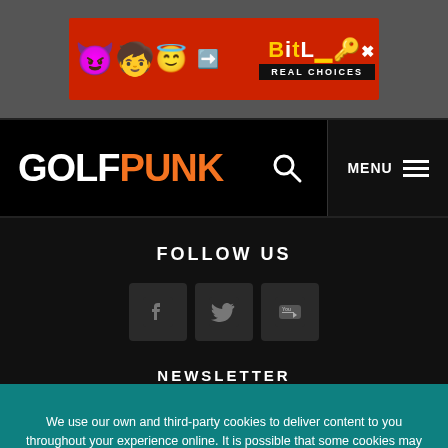[Figure (screenshot): BitLife advertisement banner with emojis and 'REAL CHOICES' text]
[Figure (logo): GolfPunk logo with search icon and MENU hamburger navigation]
FOLLOW US
[Figure (infographic): Social media icons: Facebook, Twitter, YouTube]
NEWSLETTER
We use our own and third-party cookies to deliver content to you throughout your experience online. It is possible that some cookies may continue to collect information after you've left our site. By using our site, you consent to cookies. Learn more here.
OK, GOT IT!